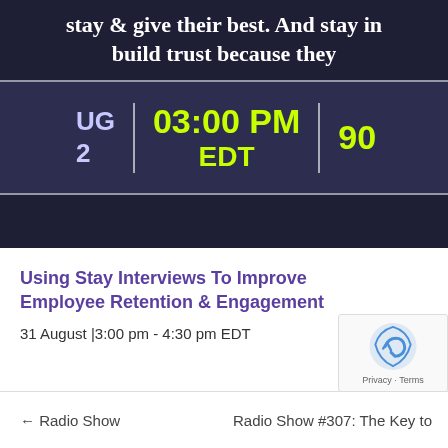[Figure (screenshot): Webinar/event promotional image with dark blue/purple background. Top band shows partial text 'stay & give their best. And stay in' and 'build trust because they'. Middle band shows time details: left side shows 'UG' and '2', center shows '03:00 PM EDT' in yellow-green, right side shows '90' partially. Bottom band is dark. Background shows a laptop keyboard.]
Using Stay Interviews To Improve Employee Retention & Engagement
31 August |3:00 pm - 4:30 pm EDT
← Radio Show    Radio Show #307: The Key to